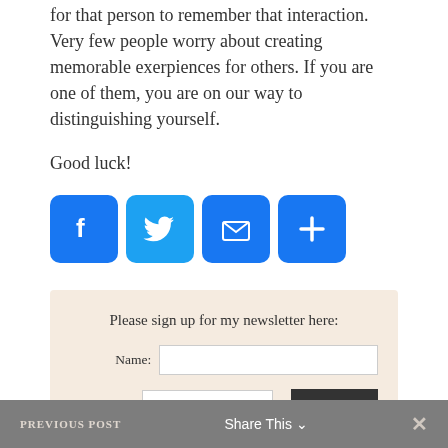for that person to remember that interaction. Very few people worry about creating memorable exerpiences for others. If you are one of them, you are on our way to distinguishing yourself.
Good luck!
[Figure (infographic): Four social sharing icon buttons: Facebook (blue f), Twitter (blue bird), Email (blue envelope), Plus/share (blue plus sign)]
Please sign up for my newsletter here:
Name: [text field] Email: [text field] Submit
PREVIOUS POST   Share This ∨   ✕